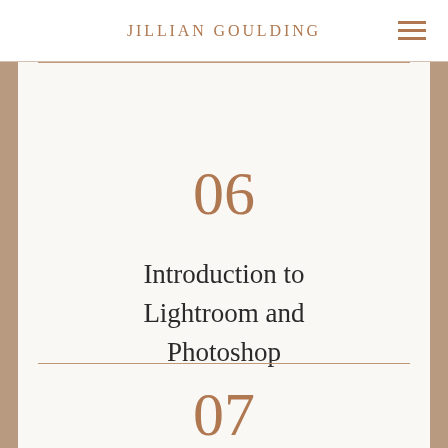JILLIAN GOULDING
06
Introduction to Lightroom and Photoshop
07